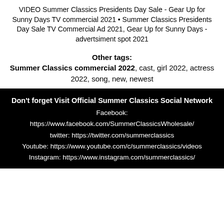VIDEO Summer Classics Presidents Day Sale - Gear Up for Sunny Days TV commercial 2021 • Summer Classics Presidents Day Sale TV Commercial Ad 2021, Gear Up for Sunny Days - advertsiment spot 2021
Other tags: Summer Classics commercial 2022, cast, girl 2022, actress 2022, song, new, newest
Don't forget Visit Official Summer Classics Social Network Facebook: https://www.facebook.com/SummerClassicsWholesale/ twitter: https://twitter.com/summerclassics Youtube: https://www.youtube.com/c/summerclassics/videos Instagram: https://www.instagram.com/summerclassics/